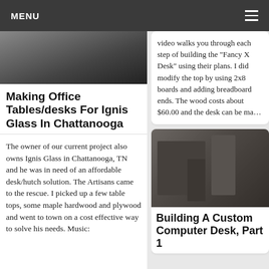MENU
[Figure (photo): Photo of a workshop/desk project, partially visible at top of left column]
Making Office Tables/desks For Ignis Glass In Chattanooga
The owner of our current project also owns Ignis Glass in Chattanooga, TN and he was in need of an affordable desk/hutch solution. The Artisans came to the rescue. I picked up a few table tops, some maple hardwood and plywood and went to town on a cost effective way to solve his needs. Music:
video walks you through each step of building the "Fancy X Desk" using their plans. I did modify the top by using 2x8 boards and adding breadboard ends. The wood costs about $60.00 and the desk can be ma…
[Figure (photo): Photo of a person working in a workshop with metalworking equipment]
Building A Custom Computer Desk, Part 1